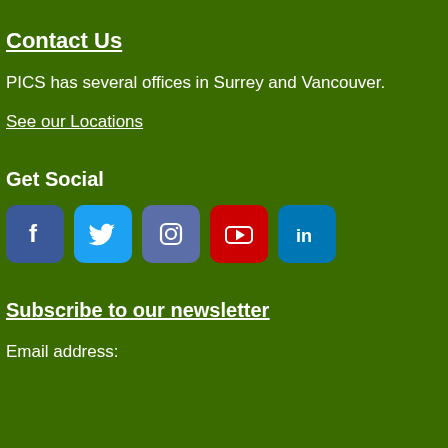Contact Us
PICS has several offices in Surrey and Vancouver.
See our Locations
Get Social
[Figure (other): Row of social media icons: Facebook (blue), Twitter (light blue), Instagram (slate blue), YouTube (red), LinkedIn (blue)]
Subscribe to our newsletter
Email address: